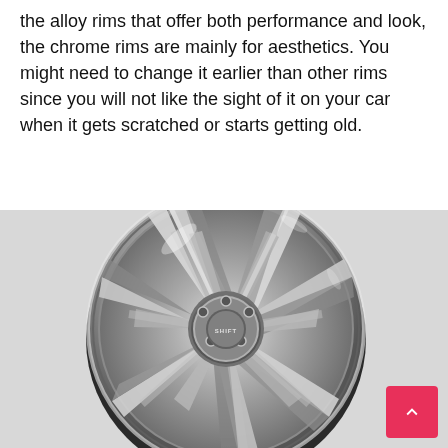the alloy rims that offer both performance and look, the chrome rims are mainly for aesthetics. You might need to change it earlier than other rims since you will not like the sight of it on your car when it gets scratched or starts getting old.
[Figure (photo): A chrome alloy wheel/rim photographed against a white background, showing intricate spoke design with highly reflective chrome finish. A 'SHIFT' logo is visible on the center cap.]